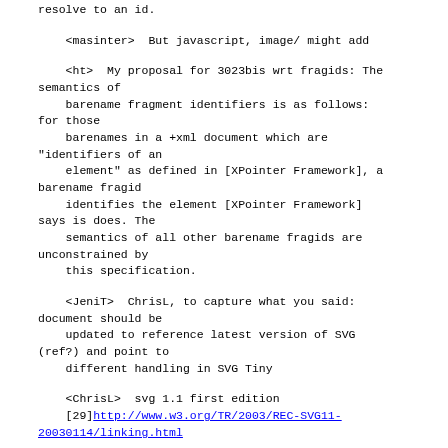resolve to an id.
<masinter>  But javascript, image/ might add
<ht>  My proposal for 3023bis wrt fragids: The semantics of
    barename fragment identifiers is as follows: for those
    barenames in a +xml document which are "identifiers of an
    element" as defined in [XPointer Framework], a barename fragid
    identifies the element [XPointer Framework] says is does. The
    semantics of all other barename fragids are unconstrained by
    this specification.
<JeniT>  ChrisL, to capture what you said: document should be
    updated to reference latest version of SVG (ref?) and point to
    different handling in SVG Tiny
<ChrisL>  svg 1.1 first edition
    [29]http://www.w3.org/TR/2003/REC-SVG11-20030114/linking.html
[29]  http://www.w3.org/TR/2003/REC-SVG11-